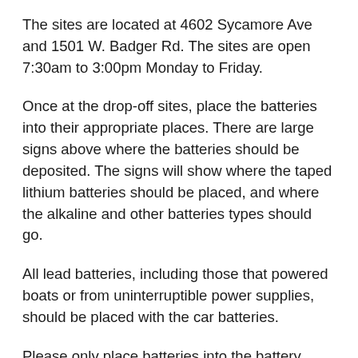The sites are located at 4602 Sycamore Ave and 1501 W. Badger Rd. The sites are open 7:30am to 3:00pm Monday to Friday.
Once at the drop-off sites, place the batteries into their appropriate places. There are large signs above where the batteries should be deposited. The signs will show where the taped lithium batteries should be placed, and where the alkaline and other batteries types should go.
All lead batteries, including those that powered boats or from uninterruptible power supplies, should be placed with the car batteries.
Please only place batteries into the battery containers. Small items like light bulbs or screws and nails do not belong with the batteries. Also please empty batteries from bags, boxes, or other containers when placing